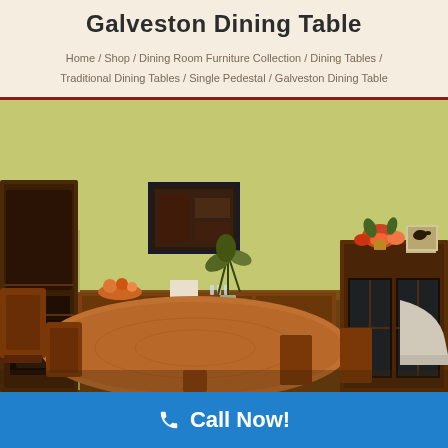Galveston Dining Table
Home / Shop / Dining Room Furniture Collection / Dining Tables / Traditional Dining Tables / Single Pedestal / Galveston Dining Table
[Figure (photo): Showroom photo of Galveston Dining Table set in a room with green walls, surrounded by chairs, with a sideboard/buffet behind, a large bookcase on the left, a china cabinet on the right, framed artwork on the wall, floral arrangement, and a plant centerpiece on the table.]
Call Now!